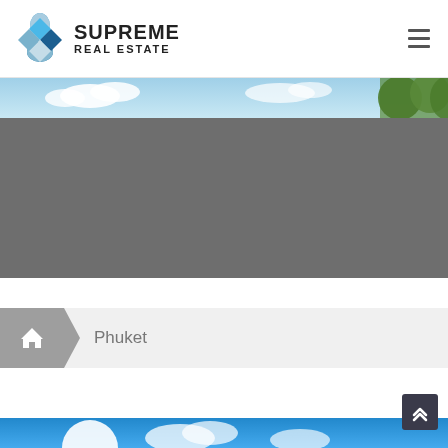Supreme Real Estate
[Figure (logo): Supreme Real Estate logo with blue diamond/cross shaped icon and company name text]
[Figure (photo): Hero banner image showing sky with clouds and green trees, partially obscured by gray overlay]
Phuket
[Figure (photo): Bottom partial image strip showing blue sky with clouds]